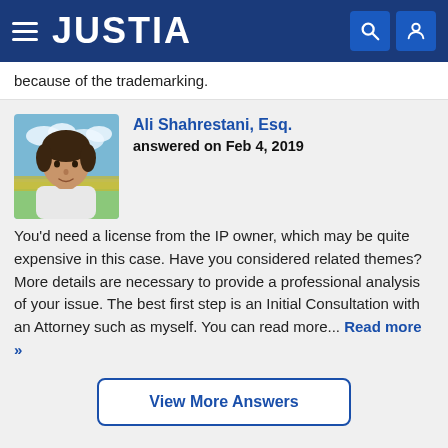JUSTIA
because of the trademarking.
Ali Shahrestani, Esq.
answered on Feb 4, 2019

You'd need a license from the IP owner, which may be quite expensive in this case. Have you considered related themes? More details are necessary to provide a professional analysis of your issue. The best first step is an Initial Consultation with an Attorney such as myself. You can read more... Read more »
View More Answers